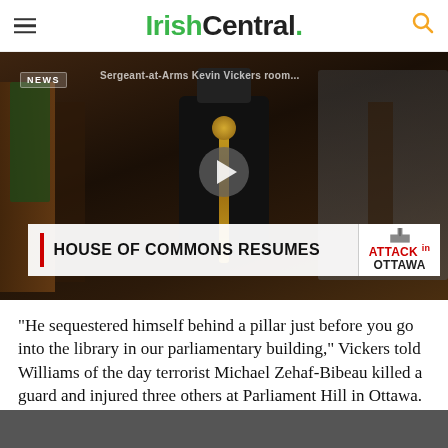IrishCentral.
[Figure (screenshot): Video thumbnail showing a robed official (Sergeant-at-Arms Kevin Vickers) in the Canadian House of Commons chamber holding a ceremonial mace, with a CNN-style lower-third ticker reading 'HOUSE OF COMMONS RESUMES' and an 'ATTACK in OTTAWA' badge. A play button is centered on the image.]
“He sequestered himself behind a pillar just before you go into the library in our parliamentary building,” Vickers told Williams of the day terrorist Michael Zehaf-Bibeau killed a guard and injured three others at Parliament Hill in Ottawa.